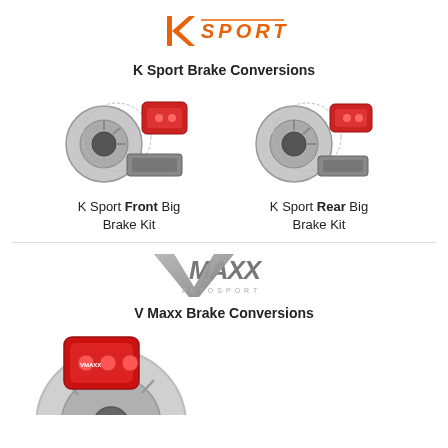[Figure (logo): K Sport logo in orange with stylized K and 'SPORT' text]
K Sport Brake Conversions
[Figure (photo): K Sport Front Big Brake Kit showing brake rotors, calipers and pads]
K Sport Front Big Brake Kit
[Figure (photo): K Sport Rear Big Brake Kit showing brake rotors, calipers and pads]
K Sport Rear Big Brake Kit
[Figure (logo): V Maxx Autosport logo in silver/chrome with stylized lettering]
V Maxx Brake Conversions
[Figure (photo): V Maxx big brake kit showing red brake caliper and slotted brake disc]